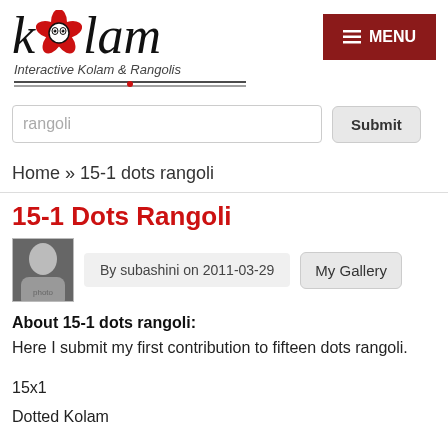[Figure (logo): Kolam logo with stylized flower replacing the 'o', tagline 'Interactive Kolam & Rangolis' with decorative underline]
[Figure (other): Dark red MENU button with hamburger icon]
rangoli
Submit
Home » 15-1 dots rangoli
15-1 Dots Rangoli
[Figure (photo): Small avatar photo of user subashini]
By subashini on 2011-03-29
My Gallery
About 15-1 dots rangoli:
Here I submit my first contribution to fifteen dots rangoli.
15x1
Dotted Kolam